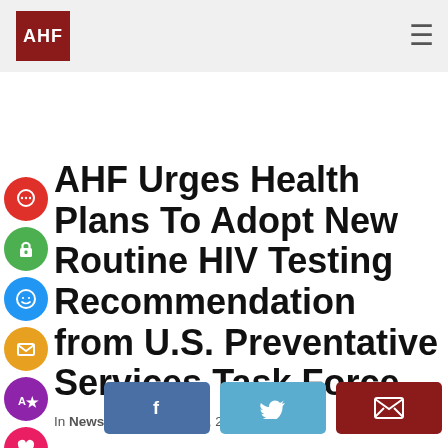AHF
AHF Urges Health Plans To Adopt New Routine HIV Testing Recommendation from U.S. Preventative Services Task Force
In News by AHF / May 1, 2013
[Figure (other): Social share buttons: Facebook, Twitter, Email]